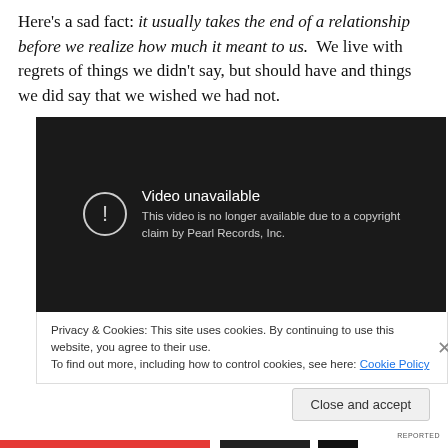Here's a sad fact: it usually takes the end of a relationship before we realize how much it meant to us. We live with regrets of things we didn't say, but should have and things we did say that we wished we had not.
[Figure (screenshot): YouTube-style video player showing 'Video unavailable' message: 'This video is no longer available due to a copyright claim by Pearl Records, Inc.']
Privacy & Cookies: This site uses cookies. By continuing to use this website, you agree to their use.
To find out more, including how to control cookies, see here: Cookie Policy
Close and accept